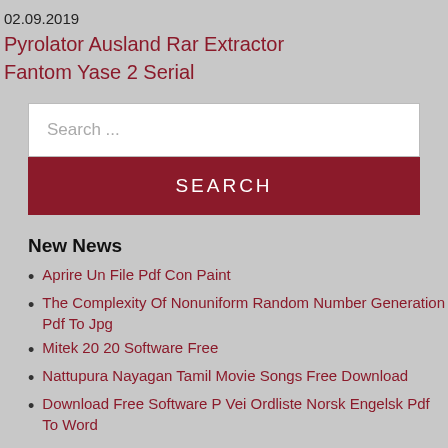02.09.2019
Pyrolator Ausland Rar Extractor
Fantom Yase 2 Serial
Search ...
SEARCH
New News
Aprire Un File Pdf Con Paint
The Complexity Of Nonuniform Random Number Generation Pdf To Jpg
Mitek 20 20 Software Free
Nattupura Nayagan Tamil Movie Songs Free Download
Download Free Software P Vei Ordliste Norsk Engelsk Pdf To Word